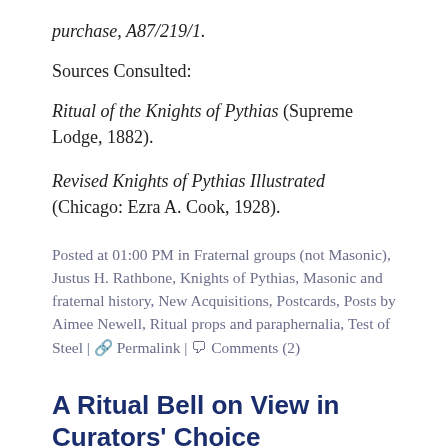purchase, A87/219/1.
Sources Consulted:
Ritual of the Knights of Pythias (Supreme Lodge, 1882).
Revised Knights of Pythias Illustrated (Chicago: Ezra A. Cook, 1928).
Posted at 01:00 PM in Fraternal groups (not Masonic), Justus H. Rathbone, Knights of Pythias, Masonic and fraternal history, New Acquisitions, Postcards, Posts by Aimee Newell, Ritual props and paraphernalia, Test of Steel | 🔗 Permalink | 💬 Comments (2)
A Ritual Bell on View in Curators' Choice